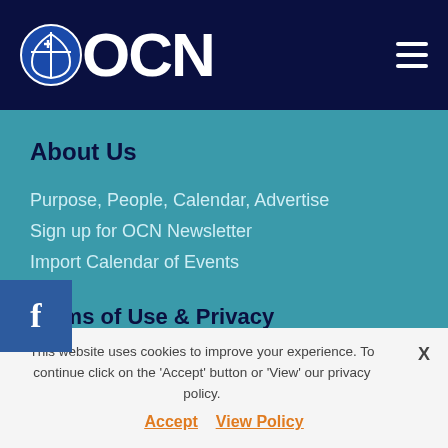OCN
About Us
Purpose, People, Calendar, Advertise
Sign up for OCN Newsletter
Import Calendar of Events
Terms of Use & Privacy
Terms of Use
Privacy
This website uses cookies to improve your experience. To continue click on the 'Accept' button or 'View' our privacy policy. Accept  View Policy